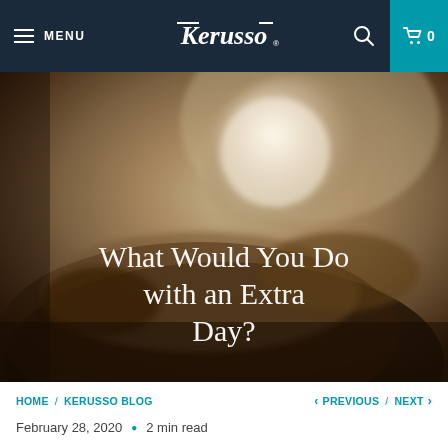MENU | Kerusso | Search | Cart 0
[Figure (photo): Blurred photo of an open hand holding a crystal orb/globe, sepia-toned warm background. Overlay title text: 'What Would You Do with an Extra Day?']
What Would You Do with an Extra Day?
HOME / KERUSSO BLOG   < PREVIOUS / NEXT >
February 28, 2020  •  2 min read